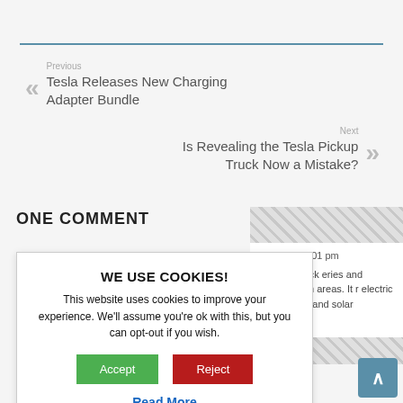Previous
Tesla Releases New Charging Adapter Bundle
Next
Is Revealing the Tesla Pickup Truck Now a Mistake?
ONE COMMENT
2019 at 10:01 pm
onic in a stock eries and stallations. th areas. It r electric vehicle rage and solar
[Figure (screenshot): Cookie consent modal dialog with title 'WE USE COOKIES!', body text explaining cookie usage, green Accept button, red Reject button, and a 'Read More' link in blue.]
WE USE COOKIES!
This website uses cookies to improve your experience. We'll assume you're ok with this, but you can opt-out if you wish.
Accept
Reject
Read More
Reply